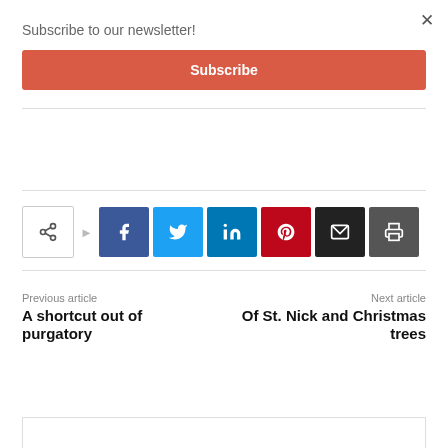Subscribe to our newsletter!
Subscribe
[Figure (infographic): Social share buttons row: share icon, arrow, Facebook, Twitter, LinkedIn, Pinterest, Email, Print]
Previous article
A shortcut out of purgatory
Next article
Of St. Nick and Christmas trees